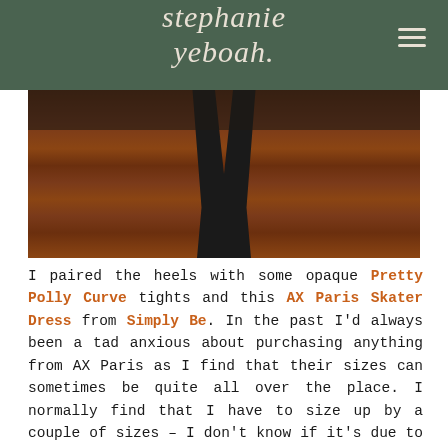stephanie yeboah.
[Figure (photo): Photo showing lower body with black tights and black heeled boots on a wooden floor background]
I paired the heels with some opaque Pretty Polly Curve tights and this AX Paris Skater Dress from Simply Be. In the past I'd always been a tad anxious about purchasing anything from AX Paris as I find that their sizes can sometimes be quite all over the place. I normally find that I have to size up by a couple of sizes – I don't know if it's due to the material they use or what, but It can be quite frustrating when I've ordered before, only to end up